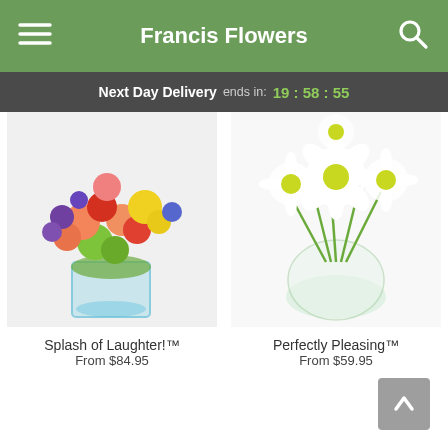Francis Flowers
Next Day Delivery ends in: 19 : 58 : 55
[Figure (photo): Colorful mixed flower arrangement in a clear square vase with blue accent stones]
Splash of Laughter!™
From $84.95
[Figure (photo): White daisies in a round clear glass vase]
Perfectly Pleasing™
From $59.95